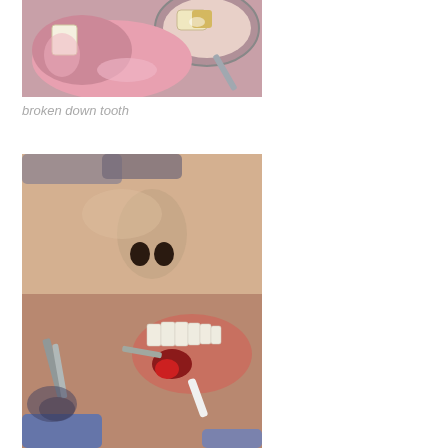[Figure (photo): Close-up intraoral photo showing a broken down tooth with a dental mirror reflecting the view, pink gum tissue visible around a heavily decayed tooth]
broken down tooth
[Figure (photo): Clinical photo showing a dental extraction procedure on a patient lying back with mouth open; surgical instruments/forceps gripping a tooth with blood visible, upper face and nose of patient also visible]